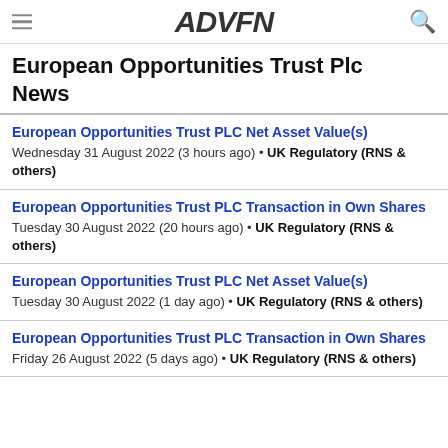ADVFN
European Opportunities Trust Plc News
European Opportunities Trust PLC Net Asset Value(s)
Wednesday 31 August 2022 (3 hours ago) • UK Regulatory (RNS & others)
European Opportunities Trust PLC Transaction in Own Shares
Tuesday 30 August 2022 (20 hours ago) • UK Regulatory (RNS & others)
European Opportunities Trust PLC Net Asset Value(s)
Tuesday 30 August 2022 (1 day ago) • UK Regulatory (RNS & others)
European Opportunities Trust PLC Transaction in Own Shares
Friday 26 August 2022 (5 days ago) • UK Regulatory (RNS & others)